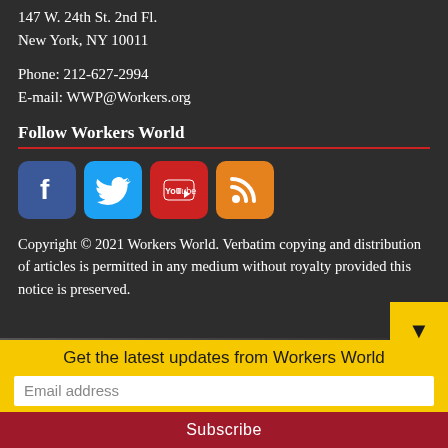147 W. 24th St. 2nd Fl.
New York, NY 10011
Phone: 212-627-2994
E-mail: WWP@Workers.org
Follow Workers World
[Figure (other): Four social media icons: Facebook (blue), Twitter (cyan), YouTube (red), RSS (orange)]
Copyright © 2021 Workers World. Verbatim copying and distribution of articles is permitted in any medium without royalty provided this notice is preserved.
Get the latest updates from Workers World
Email address
Subscribe